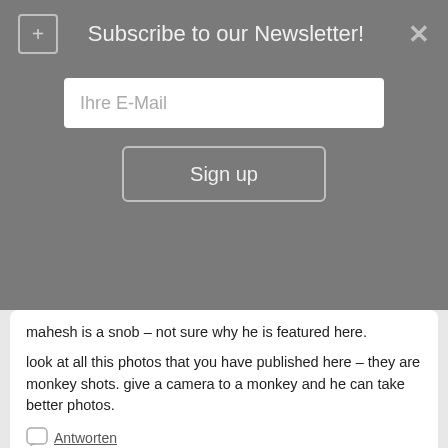Subscribe to our Newsletter!
Ihre E-Mail
Sign up
mahesh is a snob – not sure why he is featured here.
look at all this photos that you have published here – they are monkey shots. give a camera to a monkey and he can take better photos.
Antworten
Roshan
Januar 31, 2012 at 4:13 am
best known wedding photographer? LOL. you must be kidding. Someone should tell him that he was better of wasting time in a cubicle.